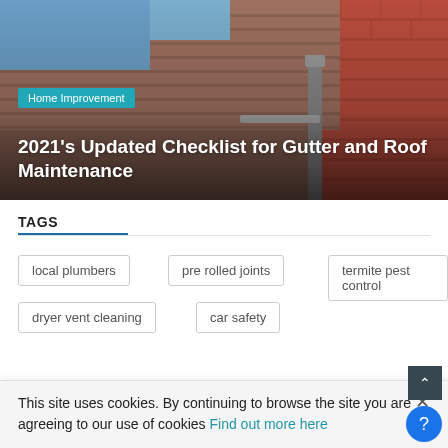[Figure (photo): Photo of a brick house roof with clay/concrete roof tiles and a metal downspout/gutter on the right side. Red brick wall visible on the right. Blue sky in top left corner.]
Home Improvement
2021's Updated Checklist for Gutter and Roof Maintenance
TAGS
local plumbers
pre rolled joints
termite pest control
dryer vent cleaning
car safety
This site uses cookies. By continuing to browse the site you are agreeing to our use of cookies Find out more here